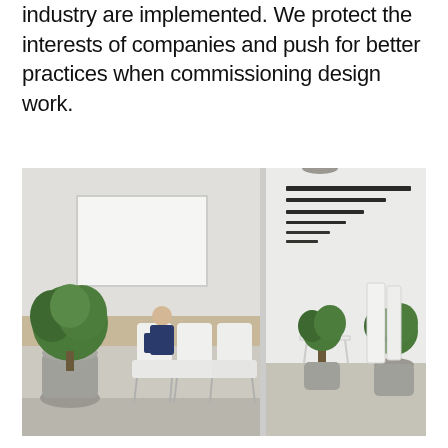industry are implemented. We protect the interests of companies and push for better practices when commissioning design work.
[Figure (photo): Modern minimalist office waiting area. Left side shows a man in a dark suit seated on white chairs in a reception area with potted trees and a blank white framed picture on the wall. Right side shows a bright white corridor with horizontal dark ceiling elements and more potted trees.]